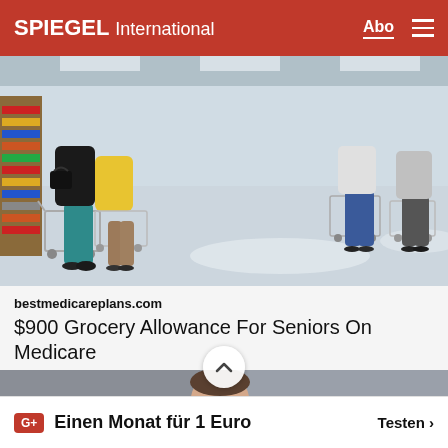SPIEGEL International  Abo  ≡
[Figure (photo): People shopping in a supermarket, view from behind, showing shopping carts in a bright store aisle]
bestmedicareplans.com
$900 Grocery Allowance For Seniors On Medicare
[Figure (photo): Person wearing a blue and red Russian flag hoodie/jersey with Vladimir Putin's face printed on it, standing on a city street]
Einen Monat für 1 Euro  Testen >